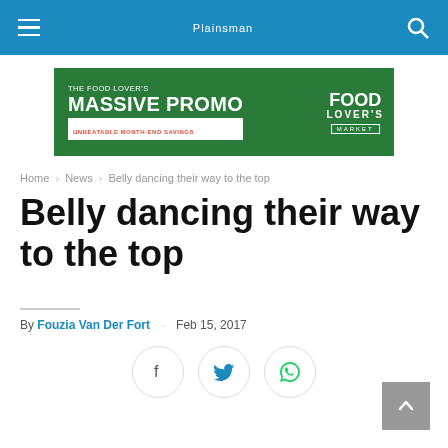Plainsman
[Figure (other): Food Lover's Market advertisement banner: 'THE FOOD LOVER'S MASSIVE PROMO – UNBEATABLE MONTH-END SAVINGS']
Home > News > Belly dancing their way to the top
Belly dancing their way to the top
By Fouzia Van Der Fort . Feb 15, 2017
[Figure (infographic): Social share buttons: Facebook, Twitter, WhatsApp]